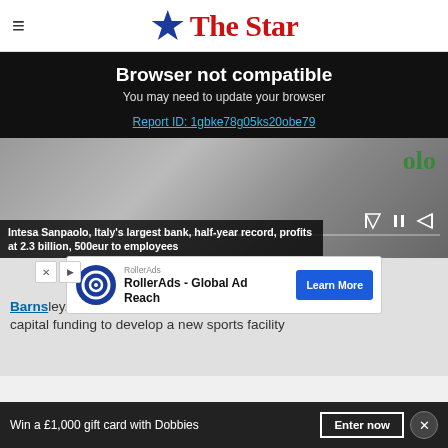The Star
Browser not compatible
You may need to update your browser
Report ID: 1gbke78g05ks20obe79
[Figure (screenshot): Video player showing a bank building, with playback controls and progress bar. Caption reads: Intesa Sanpaolo, Italy's largest bank, half-year record, profits at 2.3 billion, 500eur to employees]
Intesa Sanpaolo, Italy's largest bank, half-year record, profits at 2.3 billion, 500eur to employees
Barnsley... of capital funding to develop a new sports facility
[Figure (other): RollerAds advertisement: RollerAds - Global Ad Reach. Learn More button.]
Win a £1,000 gift card with Dobbies
Enter now